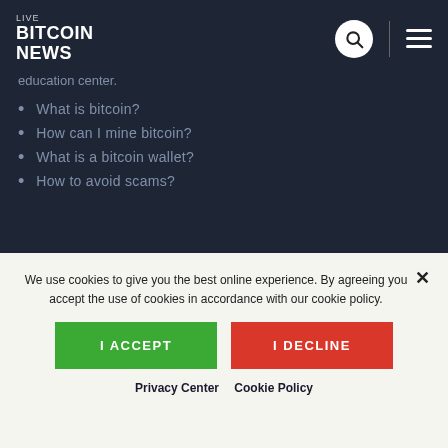LIVE BITCOIN NEWS
education center.
What is bitcoin?
How can I mine bitcoin?
What is a bitcoin wallet?
How to avoid scams?
We use cookies to give you the best online experience. By agreeing you accept the use of cookies in accordance with our cookie policy.
I ACCEPT
I DECLINE
Privacy Center  Cookie Policy